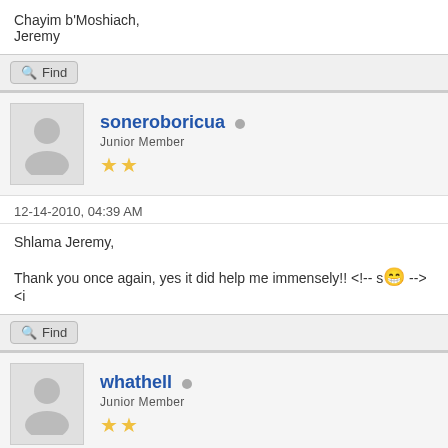Chayim b'Moshiach,
Jeremy
Find
soneroboricua • Junior Member ★★
12-14-2010, 04:39 AM
Shlama Jeremy,

Thank you once again, yes it did help me immensely!! <!-- s😁 --><i
Find
whathell • Junior Member ★★
12-16-2010, 04:31 AM